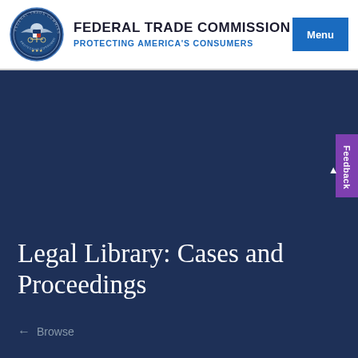[Figure (logo): Federal Trade Commission circular seal with scales of justice]
FEDERAL TRADE COMMISSION
PROTECTING AMERICA'S CONSUMERS
Menu
Legal Library: Cases and Proceedings
← Browse